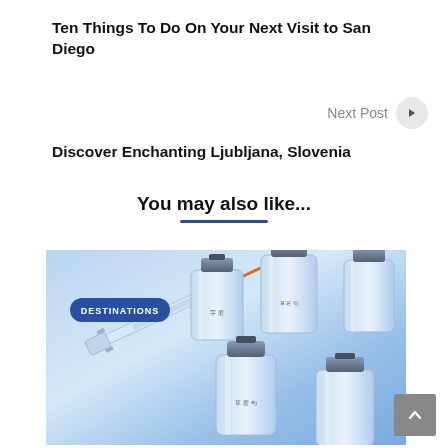Ten Things To Do On Your Next Visit to San Diego
Next Post ▶
Discover Enchanting Ljubljana, Slovenia
You may also like...
[Figure (photo): Photo of medical vaccine vials and syringes on a blue background with a DESTINATIONS badge overlay]